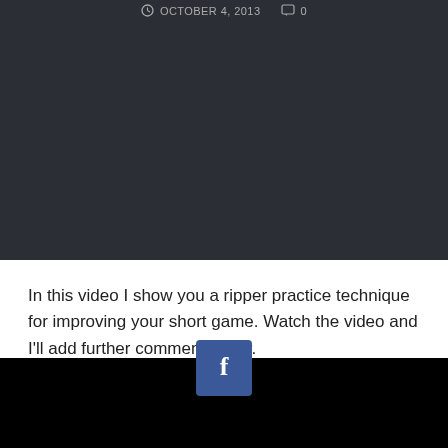OCTOBER 4, 2013   0
[Figure (screenshot): Dark background video embed area (top portion of page)]
In this video I show you a ripper practice technique for improving your short game. Watch the video and I'll add further comments after.
[Figure (screenshot): Black video player area at bottom with Facebook share button overlay]